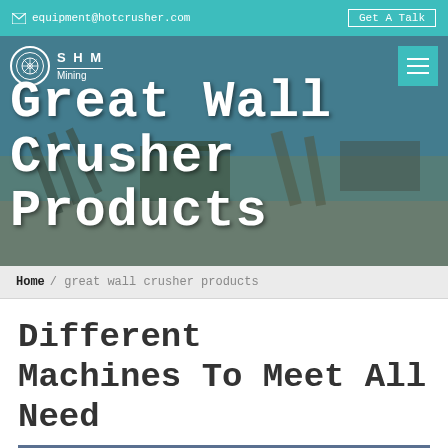equipment@hotcrusher.com   Get A Talk
[Figure (photo): Hero banner with industrial crusher/mining facility in background. Overlaid with website navigation showing SHM Mining logo and hamburger menu button. Large white text reads 'Great Wall Crusher Products'.]
Home / great wall crusher products
Different Machines To Meet All Need
[Figure (photo): Interior of a large industrial factory/warehouse building with steel roof trusses and overhead lighting visible.]